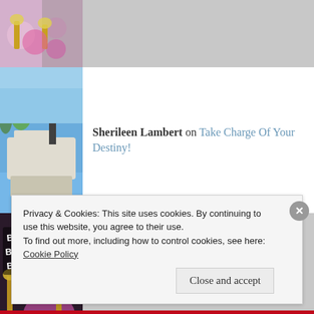[Figure (photo): Partial top row with thumbnail of flowers/trumpets partially visible, gray background, truncated content area]
[Figure (photo): Thumbnail of a yacht or waterfront scene with blue sky and palm trees]
Sherileen Lambert on Take Charge Of Your Destiny!
[Figure (photo): Thumbnail with text 'BE BRAVE BE BOLD BE YOU!' with flowers and trumpets on dark background]
ladycee on Discover the Secret of Consist...
Privacy & Cookies: This site uses cookies. By continuing to use this website, you agree to their use.
To find out more, including how to control cookies, see here:
Cookie Policy
Close and accept